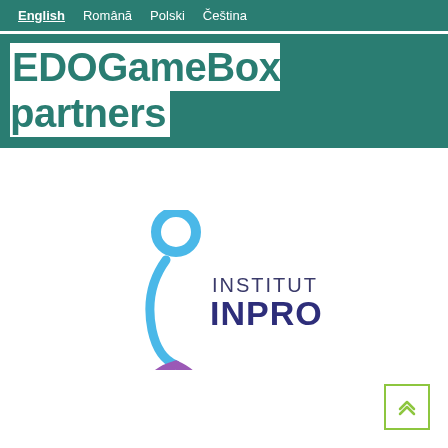English  Română  Polski  Čeština
EDOGameBox partners
[Figure (logo): Institut INPRO logo — stylized figure/letter i in blue and purple on the left, with 'INSTITUT INPRO' text in dark navy blue on the right]